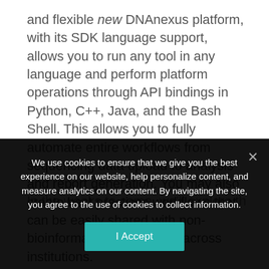and flexible new DNAnexus platform, with its SDK language support, allows you to run any tool in any language and perform platform operations through API bindings in Python, C++, Java, and the Bash Shell. This allows you to fully automate entire workflows from sequencing data upload to analysis and report generation. You may also create best practices workflows that can be easily shared with non-bioinformaticians within or across institutions.
In the weeks to come, we'll explore the many additional
We use cookies to ensure that we give you the best experience on our website, help personalize content, and measure analytics on our content. By navigating the site, you agree to the use of cookies to collect information.